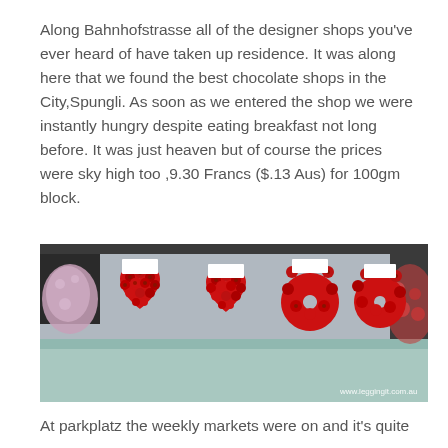Along Bahnhofstrasse all of the designer shops you've ever heard of have taken up residence. It was along here that we found the best chocolate shops in the City,Spungli. As soon as we entered the shop we were instantly hungry despite eating breakfast not long before. It was just heaven but of course the prices were sky high too ,9.30 Francs ($.13 Aus) for 100gm block.
[Figure (photo): A photograph of four large heart-shaped and circular arrangements made of red roses displayed on a market stall, with a watermark reading www.leggingit.com.au]
At parkplatz the weekly markets were on and it's quite